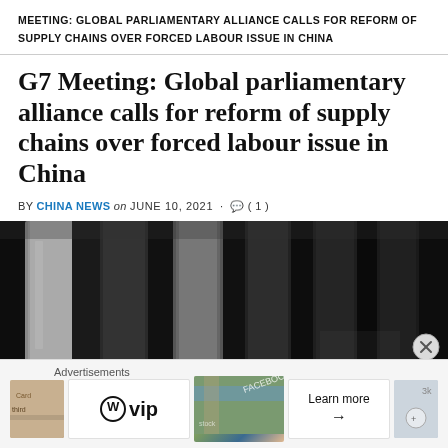MEETING: GLOBAL PARLIAMENTARY ALLIANCE CALLS FOR REFORM OF SUPPLY CHAINS OVER FORCED LABOUR ISSUE IN CHINA
G7 Meeting: Global parliamentary alliance calls for reform of supply chains over forced labour issue in China
BY CHINA NEWS on JUNE 10, 2021 · (1)
[Figure (photo): Dark photograph showing what appears to be stone or metal pillars/columns in a shadowy architectural setting]
Advertisements
[Figure (other): Advertisement banner with WordPress VIP logo, colorful map-like imagery, and a 'Learn more' button]